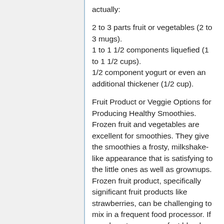actually:
2 to 3 parts fruit or vegetables (2 to 3 mugs).
1 to 1 1/2 components liquefied (1 to 1 1/2 cups).
1/2 component yogurt or even an additional thickener (1/2 cup).
Fruit Product or Veggie Options for Producing Healthy Smoothies. Frozen fruit and vegetables are excellent for smoothies. They give the smoothies a frosty, milkshake-like appearance that is satisfying to the little ones as well as grownups. Frozen fruit product, specifically significant fruit products like strawberries, can be challenging to mix in a frequent food processor. If you do not possess a fast blender or food